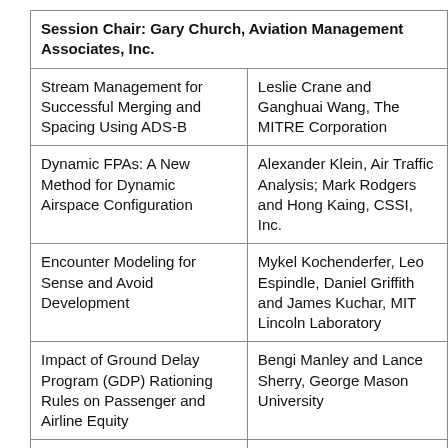| Session Chair: Gary Church, Aviation Management Associates, Inc. |  |
| --- | --- |
| Stream Management for Successful Merging and Spacing Using ADS-B | Leslie Crane and Ganghuai Wang, The MITRE Corporation |
| Dynamic FPAs: A New Method for Dynamic Airspace Configuration | Alexander Klein, Air Traffic Analysis; Mark Rodgers and Hong Kaing, CSSI, Inc. |
| Encounter Modeling for Sense and Avoid Development | Mykel Kochenderfer, Leo Espindle, Daniel Griffith and James Kuchar, MIT Lincoln Laboratory |
| Impact of Ground Delay Program (GDP) Rationing Rules on Passenger and Airline Equity | Bengi Manley and Lance Sherry, George Mason University |
| A Concept for Pairing Departures from Parallel | Clark Lunsford, The MITRE Corporation |